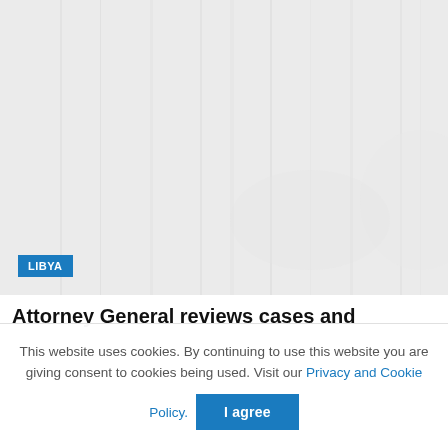[Figure (photo): A faded/light photograph with vertical stripe texture, likely a scene from Libya. A blue badge labeled 'LIBYA' is overlaid in the lower-left corner.]
Attorney General reviews cases and
This website uses cookies. By continuing to use this website you are giving consent to cookies being used. Visit our Privacy and Cookie Policy.